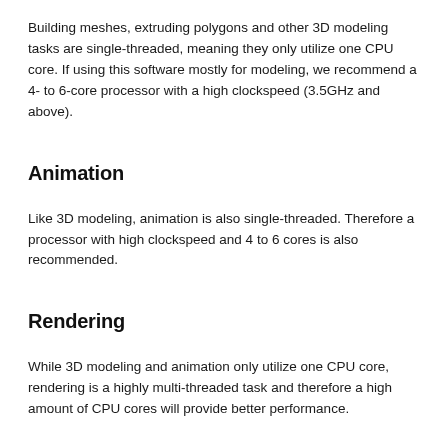Building meshes, extruding polygons and other 3D modeling tasks are single-threaded, meaning they only utilize one CPU core. If using this software mostly for modeling, we recommend a 4- to 6-core processor with a high clockspeed (3.5GHz and above).
Animation
Like 3D modeling, animation is also single-threaded. Therefore a processor with high clockspeed and 4 to 6 cores is also recommended.
Rendering
While 3D modeling and animation only utilize one CPU core, rendering is a highly multi-threaded task and therefore a high amount of CPU cores will provide better performance.